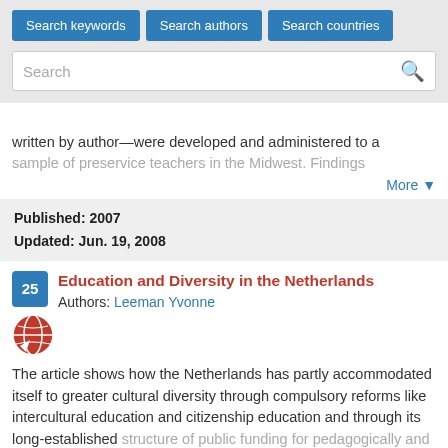[Figure (screenshot): Search interface with three buttons: Search keywords, Search authors, Search countries, and a search input field with magnifying glass icon]
written by author—were developed and administered to a sample of preservice teachers in the Midwest. Findings
More ▼
Published: 2007
Updated: Jun. 19, 2008
Education and Diversity in the Netherlands
Authors: Leeman Yvonne
[Figure (illustration): Globe icon - red circle with white world map silhouette]
The article shows how the Netherlands has partly accommodated itself to greater cultural diversity through compulsory reforms like intercultural education and citizenship education and through its long-established structure of public funding for pedagogically and religiously
More ▼